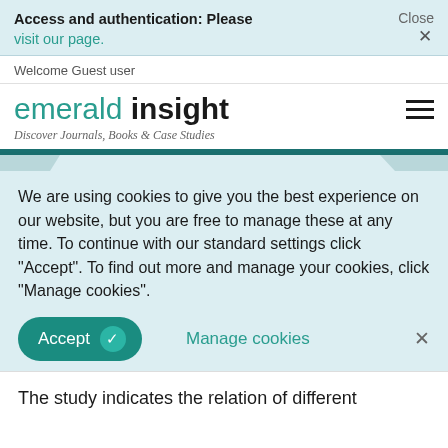Access and authentication: Please visit our page. Close ×
Welcome Guest user
emerald insight
Discover Journals, Books & Case Studies
We are using cookies to give you the best experience on our website, but you are free to manage these at any time. To continue with our standard settings click "Accept". To find out more and manage your cookies, click "Manage cookies".
Accept ✓   Manage cookies   ×
The study indicates the relation of different